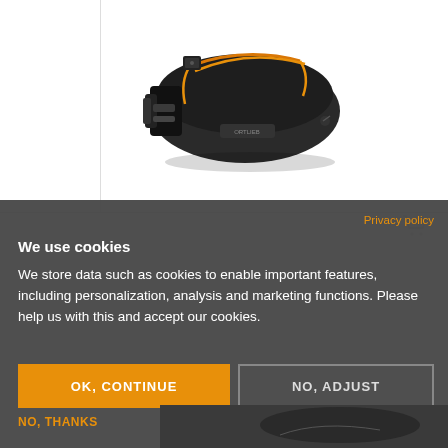[Figure (photo): Black bicycle saddle bag (Ortlieb Seat-Pack QR) with orange bungee cords and mounting hardware, photographed on white background]
Seat-Pack QR
Privacy policy
We use cookies
We store data such as cookies to enable important features, including personalization, analysis and marketing functions. Please help us with this and accept our cookies.
OK, CONTINUE
NO, ADJUST
NO, THANKS